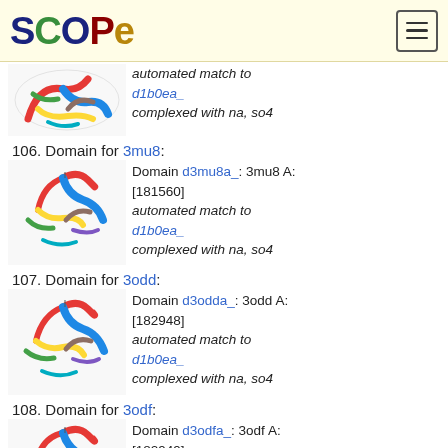SCOPe
[Figure (photo): Protein structure ribbon diagram (partial, top of page) - automated match to d1b0ea_, complexed with na, so4]
106. Domain for 3mu8:
[Figure (photo): Protein structure ribbon diagram for 3mu8 - Domain d3mu8a_: 3mu8 A: [181560], automated match to d1b0ea_, complexed with na, so4]
107. Domain for 3odd:
[Figure (photo): Protein structure ribbon diagram for 3odd - Domain d3odda_: 3odd A: [182948], automated match to d1b0ea_, complexed with na, so4]
108. Domain for 3odf:
[Figure (photo): Protein structure ribbon diagram for 3odf - Domain d3odfa_: 3odf A: [182949], automated match to (partial)]